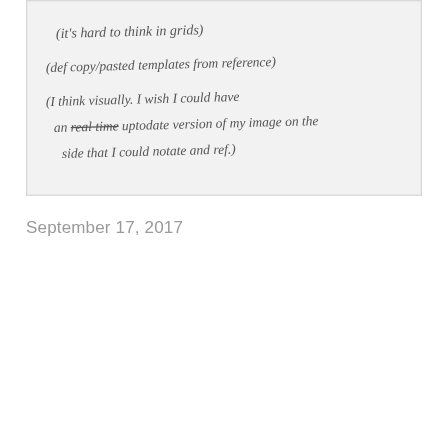[Figure (photo): Photograph of handwritten notes on white paper. The text reads: (it's hard to think in grids) (def copy/pasted templates from reference) (I think visually. I wish I could have an real time uptodate version of my image on the side that I could notate and ref.)]
September 17, 2017